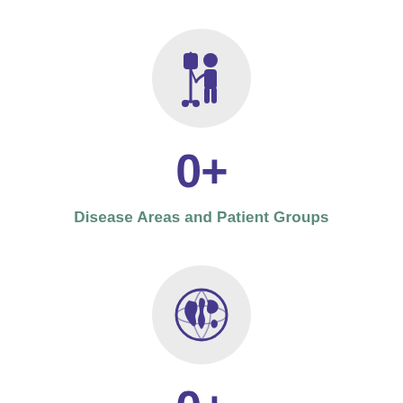[Figure (illustration): Gray circle with a purple icon of a patient standing next to an IV drip pole]
0+
Disease Areas and Patient Groups
[Figure (illustration): Gray circle with a purple globe/earth icon]
0+